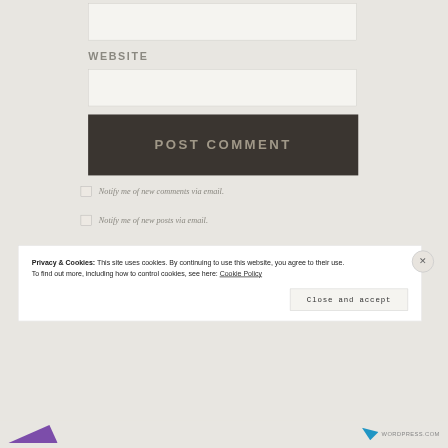[Figure (screenshot): Website text input field (top, partially visible)]
WEBSITE
[Figure (screenshot): Website URL input field]
[Figure (screenshot): POST COMMENT button, dark brown/charcoal background]
Notify me of new comments via email.
Notify me of new posts via email.
Privacy & Cookies: This site uses cookies. By continuing to use this website, you agree to their use.
To find out more, including how to control cookies, see here: Cookie Policy
Close and accept